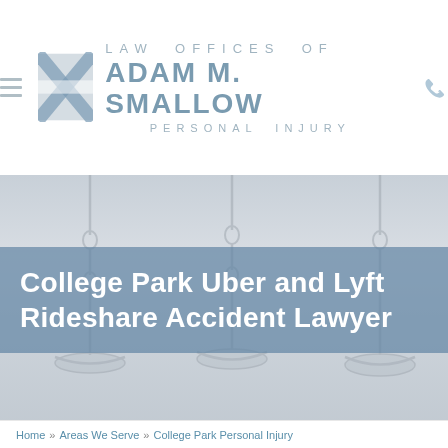[Figure (logo): Law Offices of Adam M. Smallow Personal Injury logo with blue flag/cross emblem, hamburger menu icon, and phone icon]
[Figure (photo): Background photo of scales of justice chains, muted blue-grey tones]
College Park Uber and Lyft Rideshare Accident Lawyer
Home » Areas We Serve » College Park Personal Injury